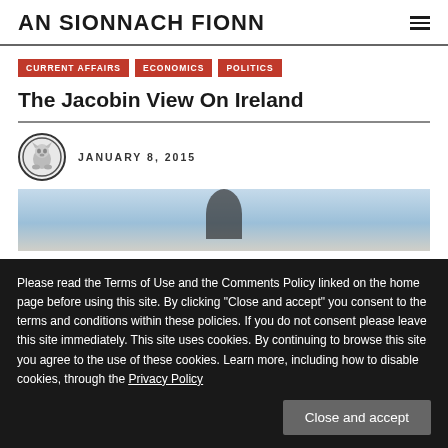AN SIONNACH FIONN
CURRENT AFFAIRS
ECONOMICS
POLITICS
The Jacobin View On Ireland
JANUARY 8, 2015
[Figure (photo): Partial photo visible behind cookie consent overlay, showing a sky and partial figure]
Please read the Terms of Use and the Comments Policy linked on the home page before using this site. By clicking “Close and accept” you consent to the terms and conditions within these policies. If you do not consent please leave this site immediately. This site uses cookies. By continuing to browse this site you agree to the use of these cookies. Learn more, including how to disable cookies, through the Privacy Policy
Close and accept